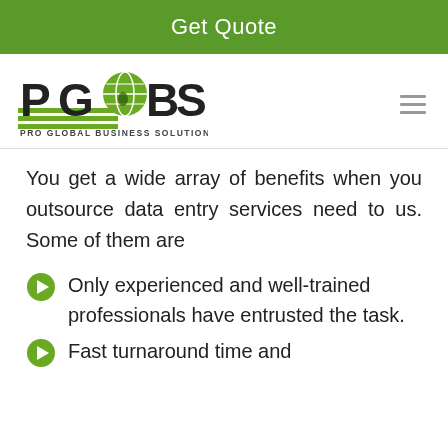Get Quote
[Figure (logo): PGBS - Pro Global Business Solutions logo with globe icon and green horizontal lines]
You get a wide array of benefits when you outsource data entry services need to us. Some of them are
Only experienced and well-trained professionals have entrusted the task.
Fast turnaround time and